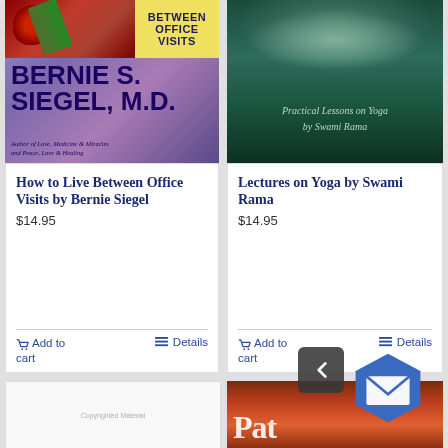[Figure (photo): Book cover: How to Live Between Office Visits by Bernie S. Siegel M.D. Purple/lavender cover with rose image and author name in large bold text]
How to Live Between Office Visits by Bernie Siegel
$14.95
Add to cart
Details
[Figure (photo): Book cover: Lectures on Yoga by Swami Rama, dark green/teal misty background with italic text]
Lectures on Yoga by Swami Rama
$14.95
Add to cart
Details
[Figure (photo): Book cover partial: white/grey cover with 'Copyrighted Material' text]
[Figure (photo): Book cover partial: reddish-brown canyon/rock texture with large bold text beginning with 'P']